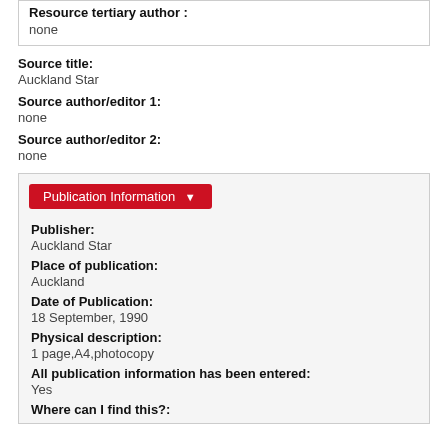Resource tertiary author : none
Source title:
Auckland Star
Source author/editor 1:
none
Source author/editor 2:
none
Publication Information
Publisher:
Auckland Star
Place of publication:
Auckland
Date of Publication:
18 September, 1990
Physical description:
1 page,A4,photocopy
All publication information has been entered:
Yes
Where can I find this?: